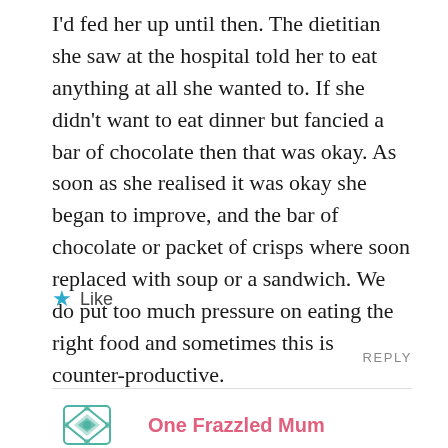I'd fed her up until then. The dietitian she saw at the hospital told her to eat anything at all she wanted to. If she didn't want to eat dinner but fancied a bar of chocolate then that was okay. As soon as she realised it was okay she began to improve, and the bar of chocolate or packet of crisps where soon replaced with soup or a sandwich. We do put too much pressure on eating the right food and sometimes this is counter-productive.
★ Like
REPLY
One Frazzled Mum